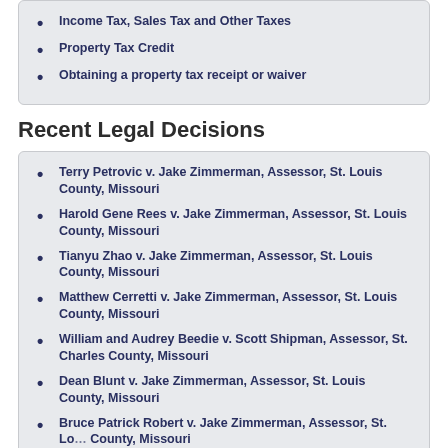Income Tax, Sales Tax and Other Taxes
Property Tax Credit
Obtaining a property tax receipt or waiver
Recent Legal Decisions
Terry Petrovic v. Jake Zimmerman, Assessor, St. Louis County, Missouri
Harold Gene Rees v. Jake Zimmerman, Assessor, St. Louis County, Missouri
Tianyu Zhao v. Jake Zimmerman, Assessor, St. Louis County, Missouri
Matthew Cerretti v. Jake Zimmerman, Assessor, St. Louis County, Missouri
William and Audrey Beedie v. Scott Shipman, Assessor, St. Charles County, Missouri
Dean Blunt v. Jake Zimmerman, Assessor, St. Louis County, Missouri
Bruce Patrick Robert v. Jake Zimmerman, Assessor, St. Louis County, Missouri
George Traver Winchright v. Jake Zimmerman, Assessor, St.